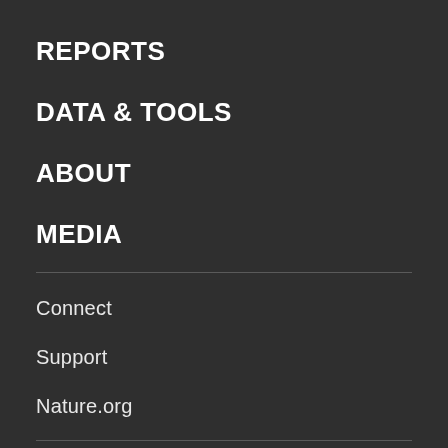REPORTS
DATA & TOOLS
ABOUT
MEDIA
Connect
Support
Nature.org
Terms and Conditions